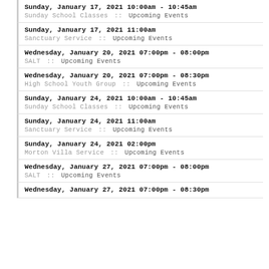Sunday, January 17, 2021 10:00am - 10:45am
Sunday School Classes :: Upcoming Events
Sunday, January 17, 2021 11:00am
Sanctuary Service :: Upcoming Events
Wednesday, January 20, 2021 07:00pm - 08:00pm
SALT :: Upcoming Events
Wednesday, January 20, 2021 07:00pm - 08:30pm
High School Youth Group :: Upcoming Events
Sunday, January 24, 2021 10:00am - 10:45am
Sunday School Classes :: Upcoming Events
Sunday, January 24, 2021 11:00am
Sanctuary Service :: Upcoming Events
Sunday, January 24, 2021 02:00pm
Morton Villa Service :: Upcoming Events
Wednesday, January 27, 2021 07:00pm - 08:00pm
SALT :: Upcoming Events
Wednesday, January 27, 2021 07:00pm - 08:30pm